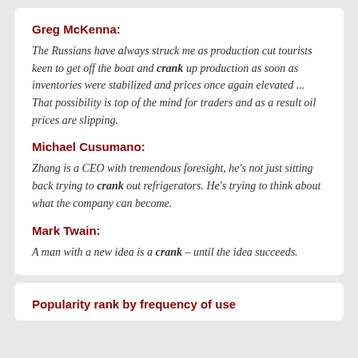Greg McKenna:
The Russians have always struck me as production cut tourists keen to get off the boat and crank up production as soon as inventories were stabilized and prices once again elevated ... That possibility is top of the mind for traders and as a result oil prices are slipping.
Michael Cusumano:
Zhang is a CEO with tremendous foresight, he's not just sitting back trying to crank out refrigerators. He's trying to think about what the company can become.
Mark Twain:
A man with a new idea is a crank – until the idea succeeds.
Popularity rank by frequency of use